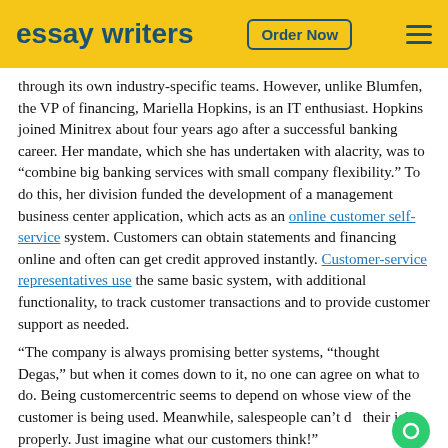essay writers | Order Now
through its own industry-specific teams. However, unlike Blumfen, the VP of financing, Mariella Hopkins, is an IT enthusiast. Hopkins joined Minitrex about four years ago after a successful banking career. Her mandate, which she has undertaken with alacrity, was to “combine big banking services with small company flexibility.” To do this, her division funded the development of a management business center application, which acts as an online customer self-service system. Customers can obtain statements and financing online and often can get credit approved instantly. Customer-service representatives use the same basic system, with additional functionality, to track customer transactions and to provide customer support as needed.
“The company is always promising better systems, “thought Degas,” but when it comes down to it, no one can agree on what to do. Being customercentric seems to depend on whose view of the customer is being used. Meanwhile, salespeople can’t do their jobs properly. Just imagine what our customers think!”